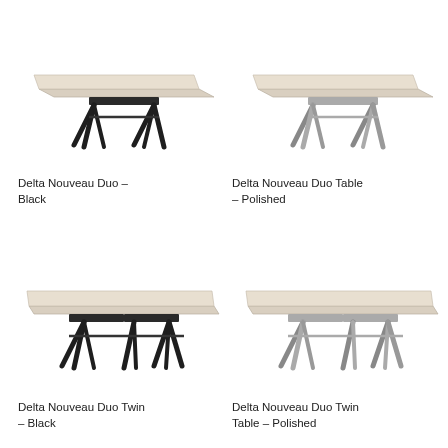[Figure (photo): Delta Nouveau Duo table with black legs and light wood top, viewed from angle]
Delta Nouveau Duo – Black
[Figure (photo): Delta Nouveau Duo table with polished legs and light wood top, viewed from angle]
Delta Nouveau Duo Table – Polished
[Figure (photo): Delta Nouveau Duo Twin table with black legs and light wood top, larger twin version, viewed from angle]
Delta Nouveau Duo Twin – Black
[Figure (photo): Delta Nouveau Duo Twin table with polished legs and light wood top, larger twin version, viewed from angle]
Delta Nouveau Duo Twin Table – Polished